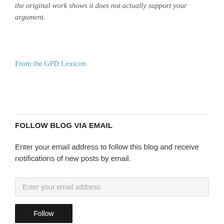the original work shows it does not actually support your argument.
From the GPD Lexicon.
FOLLOW BLOG VIA EMAIL
Enter your email address to follow this blog and receive notifications of new posts by email.
Enter your email address
Follow